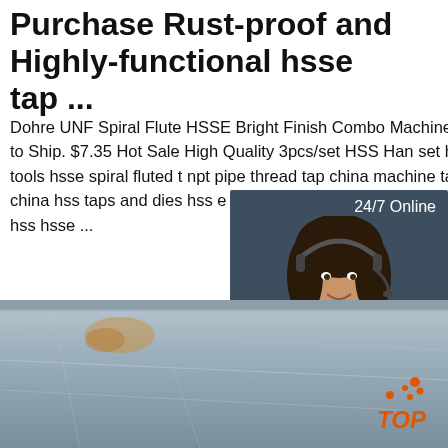Purchase Rust-proof and Highly-functional hsse tap ...
Dohre UNF Spiral Flute HSSE Bright Finish Combo Machine Taps. Ready to Ship. $7.35 Hot Sale High Quality 3pcs/set HSS Hand set hsse cutting tools hsse spiral fluted tap npt pipe thread tap china machine taps hss hss e drill china hss taps and dies hss e hsse hsse din376 spiral point tap hsse e hss hsse ...
[Figure (photo): Customer service representative woman with headset, chat widget overlay with 24/7 Online label, Click here for free chat text, and orange QUOTATION button]
[Figure (photo): Close-up photo of metal plate/sheet material, with orange TOP badge watermark in bottom right corner]